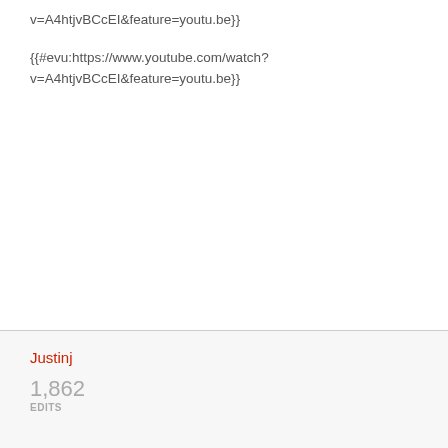v=A4htjvBCcEI&feature=youtu.be}}
{{#evu:https://www.youtube.com/watch?v=A4htjvBCcEI&feature=youtu.be}}
Justinj
1,862
EDITS